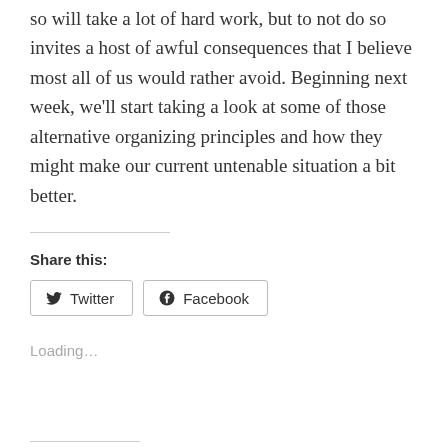so will take a lot of hard work, but to not do so invites a host of awful consequences that I believe most all of us would rather avoid. Beginning next week, we'll start taking a look at some of those alternative organizing principles and how they might make our current untenable situation a bit better.
Share this:
[Figure (other): Twitter and Facebook share buttons]
Loading...